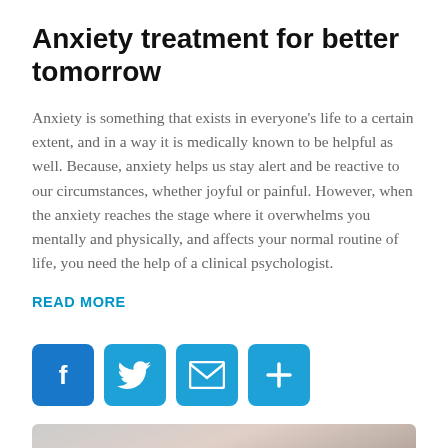Anxiety treatment for better tomorrow
Anxiety is something that exists in everyone’s life to a certain extent, and in a way it is medically known to be helpful as well. Because, anxiety helps us stay alert and be reactive to our circumstances, whether joyful or painful. However, when the anxiety reaches the stage where it overwhelms you mentally and physically, and affects your normal routine of life, you need the help of a clinical psychologist.
READ MORE
[Figure (infographic): Social sharing icons: Facebook (blue), Twitter (light blue), Email (light blue envelope), Share/Plus (light blue)]
[Figure (photo): Partial photo at bottom of page showing blurred hands or skin tones in grey and warm tones]